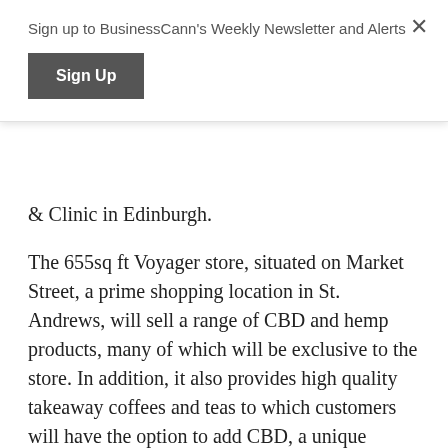Sign up to BusinessCann's Weekly Newsletter and Alerts
Sign Up
& Clinic in Edinburgh.
The 655sq ft Voyager store, situated on Market Street, a prime shopping location in St. Andrews, will sell a range of CBD and hemp products, many of which will be exclusive to the store. In addition, it also provides high quality takeaway coffees and teas to which customers will have the option to add CBD, a unique feature to the area's businesses. The store opened on Saturday 31 July and, despite wet weather on the opening day, has traded profitably over the weekend.